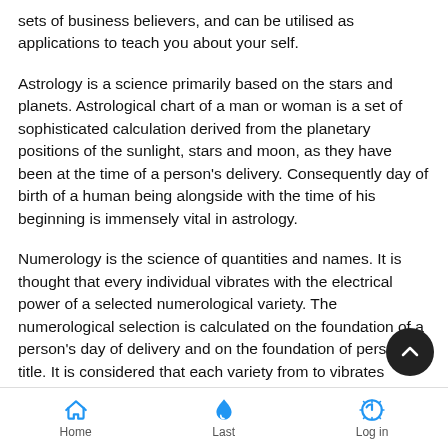sets of business believers, and can be utilised as applications to teach you about your self.
Astrology is a science primarily based on the stars and planets. Astrological chart of a man or woman is a set of sophisticated calculation derived from the planetary positions of the sunlight, stars and moon, as they have been at the time of a person's delivery. Consequently day of birth of a human being alongside with the time of his beginning is immensely vital in astrology.
Numerology is the science of quantities and names. It is thought that every individual vibrates with the electrical power of a selected numerological variety. The numerological selection is calculated on the foundation of a person's day of delivery and on the foundation of person's title. It is considered that each variety from to vibrates differently and is liable for a person's
Home  Last  Log in